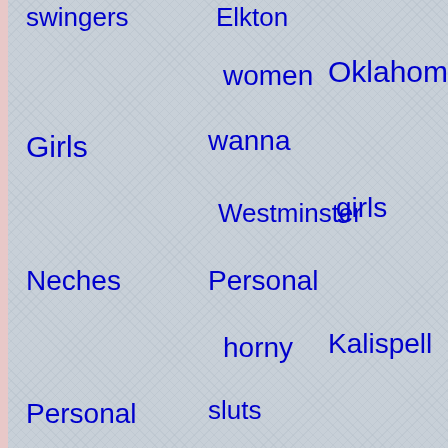swingers
Elkton
women
Oklahoma
Girls
wanna
Westminster
girls
Neches
Personal
horny
Kalispell
Personal
sluts
Women
swingers
Casper
Aberdeen
Midland
Swinging
Swapping
Swingers
Swingers
websites
swingers
Dresden
adult